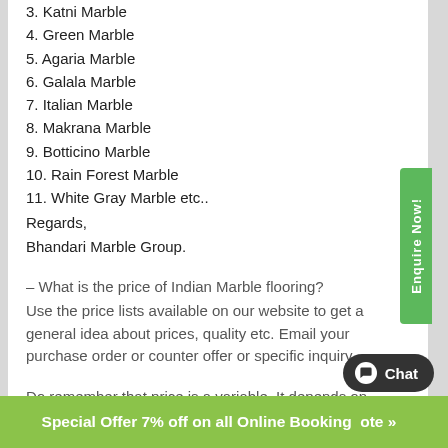3. Katni Marble
4. Green Marble
5. Agaria Marble
6. Galala Marble
7. Italian Marble
8. Makrana Marble
9. Botticino Marble
10. Rain Forest Marble
11. White Gray Marble etc..
Regards,
Bhandari Marble Group.
– What is the price of Indian Marble flooring?
Use the price lists available on our website to get a general idea about prices, quality etc. Email your purchase order or counter offer or specific inquiry.
Do remember that price is a variable. It depends on quantity, size, delivery period, payment terms etc.
Regards,
Bhandari Marble Group.
Special Offer 7% off on all Online Booking  ote »